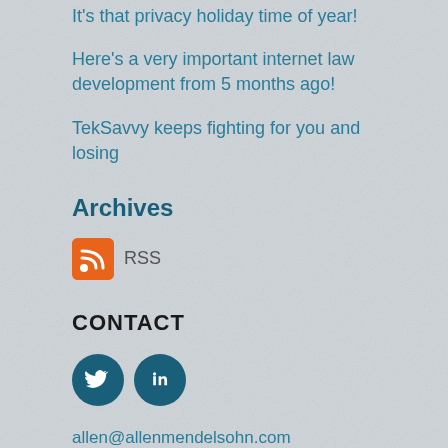It's that privacy holiday time of year!
Here's a very important internet law development from 5 months ago!
TekSavvy keeps fighting for you and losing
Archives
[Figure (logo): RSS feed icon (orange square with white RSS symbol) followed by 'RSS' text label]
CONTACT
[Figure (logo): Twitter and LinkedIn social media circular icons in dark teal color]
allen@allenmendelsohn.com
T: 514-931-0702
F: 514-907-0363